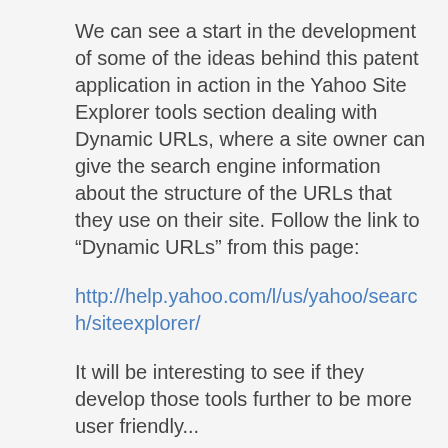We can see a start in the development of some of the ideas behind this patent application in action in the Yahoo Site Explorer tools section dealing with Dynamic URLs, where a site owner can give the search engine information about the structure of the URLs that they use on their site. Follow the link to “Dynamic URLs” from this page:
http://help.yahoo.com/l/us/yahoo/search/siteexplorer/
It will be interesting to see if they develop those tools further to be more user friendly...